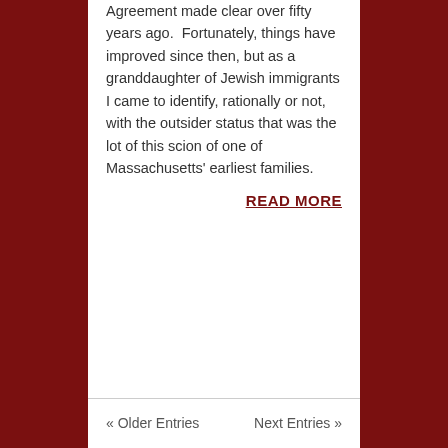Agreement made clear over fifty years ago.  Fortunately, things have improved since then, but as a granddaughter of Jewish immigrants I came to identify, rationally or not, with the outsider status that was the lot of this scion of one of Massachusetts' earliest families.
READ MORE
« Older Entries    Next Entries »